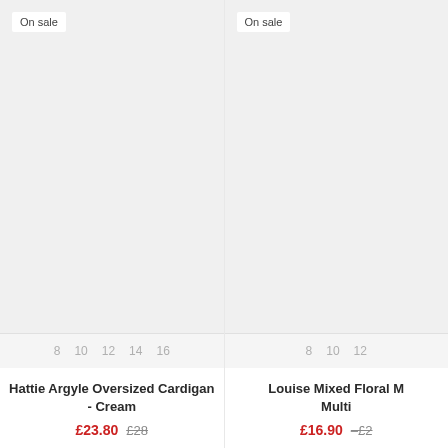[Figure (photo): Product image placeholder area for Hattie Argyle Oversized Cardigan - Cream, light grey background]
On sale
8  10  12  14  16
Hattie Argyle Oversized Cardigan - Cream
£23.80  £28
[Figure (photo): Product image placeholder area for Louise Mixed Floral Multi, light grey background]
On sale
8  10  12
Louise Mixed Floral Multi
£16.90  £2...